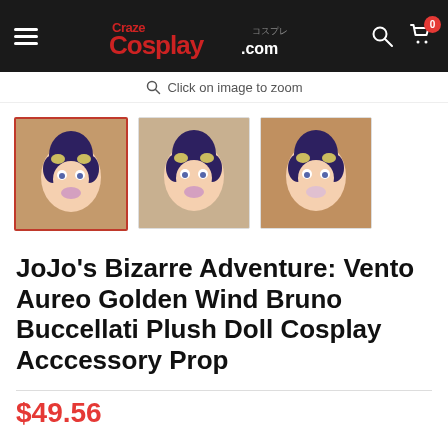CrazeCosplay.com – navigation bar with logo, search icon, and cart (0 items)
Click on image to zoom
[Figure (photo): Three thumbnail images of a Bruno Buccellati chibi/plush doll figure with dark hair and flower accessories. The first thumbnail is selected (red border).]
JoJo's Bizarre Adventure: Vento Aureo Golden Wind Bruno Buccellati Plush Doll Cosplay Acccessory Prop
$49.56